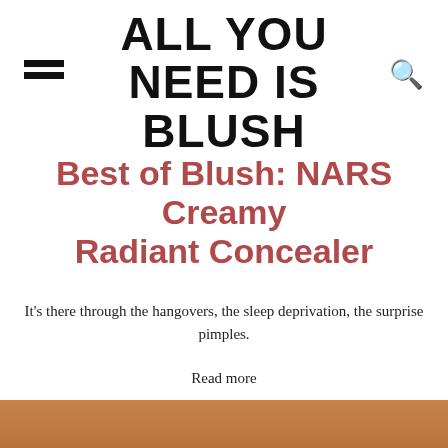ALL YOU NEED IS BLUSH
Best of Blush: NARS Creamy Radiant Concealer
It’s there through the hangovers, the sleep deprivation, the surprise pimples.
Read more
[Figure (photo): Bottom strip showing a warm-toned image, likely a skin/makeup product photo]